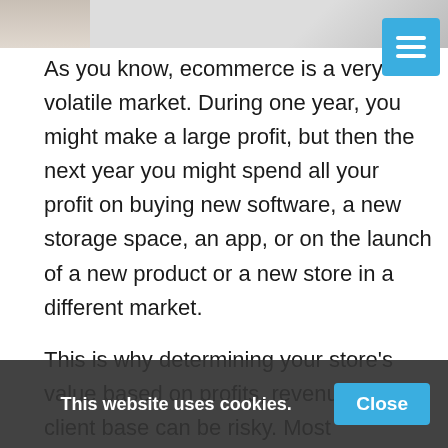[Figure (photo): Partial view of a photo showing papers or a notebook on a dark surface, cropped at the top of the page.]
As you know, ecommerce is a very volatile market. During one year, you might make a large profit, but then the next year you might spend all your profit on buying new software, a new storage space, an app, or on the launch of a new product or a new store in a different market.
This is why determining your store’s value based on profits, revenue or your client base can be risky. Most companies that work in ecommerce use a method that combines the different facets that are mentioned above. This way, you take the market’s volatility into account.